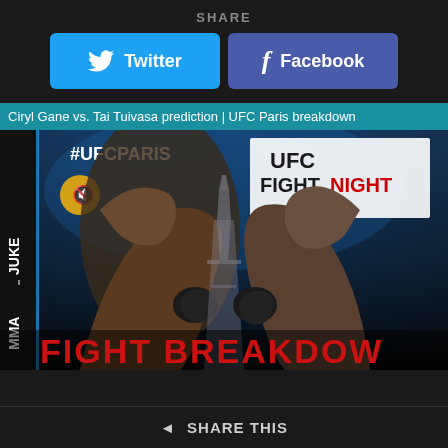SHARE
Twitter
Facebook
Ciryl Gane vs. Tai Tuivasa prediction | UFC Paris breakdown
[Figure (screenshot): UFC Fight Night promotional image showing two fighters facing each other (Ciryl Gane and Tai Tuivasa) with Eiffel Tower between them, MMA Junkie branding on left, #UFCPARIS hashtag, UFC FIGHT NIGHT logo, and FIGHT BREAKDOWN text at bottom in red.]
SHARE THIS